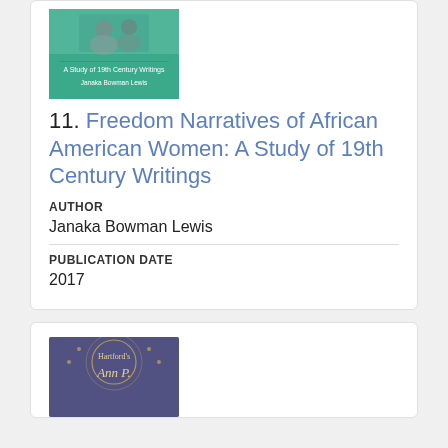[Figure (photo): Book cover for 'Freedom Narratives of African American Women: A Study of 19th Century Writings' by Janaka Bowman Lewis, with teal/green background]
11. Freedom Narratives of African American Women: A Study of 19th Century Writings
AUTHOR
Janaka Bowman Lewis
PUBLICATION DATE
2017
[Figure (photo): Book cover for Hartford's item, with blue/purple background and decorative text]